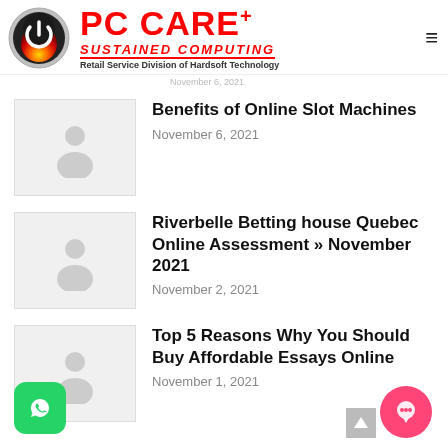[Figure (logo): PC CARE+ logo with power button icon in black/red/orange gradient circle, text 'PC CARE+' in red, 'SUSTAINED COMPUTING' in red italic, 'Retail Service Division of Hardsoft Technology' in small text]
November 6, 2021 (truncated at top)
Benefits of Online Slot Machines
November 6, 2021
Riverbelle Betting house Quebec  Online Assessment » November 2021
November 2, 2021
Top 5 Reasons Why You Should Buy Affordable Essays Online
November 1, 2021